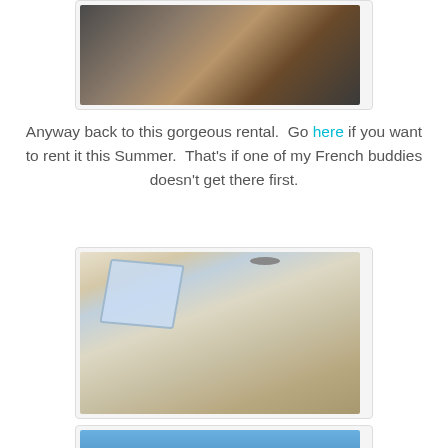[Figure (photo): Interior kitchen photo showing modern kitchen with island, stainless appliances, and hardwood floor — partially visible at top of page]
Anyway back to this gorgeous rental.  Go here if you want to rent it this Summer.  That's if one of my French buddies doesn't get there first.
[Figure (photo): Luxury bathroom photo with slanted ceiling, skylight window, glass shower enclosure with stone tile walls, rain shower head, and corner jetted bathtub]
[Figure (photo): Outdoor photo showing trees and blue sky — partially visible at bottom of page]